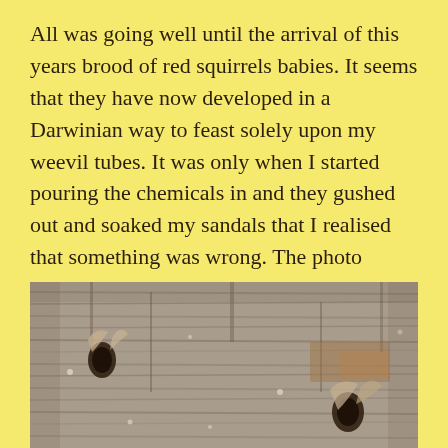All was going well until the arrival of this years brood of red squirrels babies. It seems that they have now developed in a Darwinian way to feast solely upon my weevil tubes. It was only when I started pouring the chemicals in and they gushed out and soaked my sandals that I realised that something was wrong. The photo below shows the damage wrought on every tube on every tree.
[Figure (photo): Close-up photograph of tree bark showing damage — holes and peeling or chewed bark texture, presumably caused by red squirrels gnawing on weevil tubes attached to the tree.]